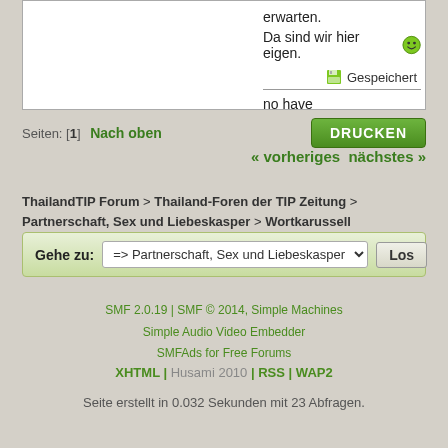erwarten.
Da sind wir hier eigen.
Gespeichert
no have
Seiten: [1] Nach oben
DRUCKEN
« vorheriges nächstes »
ThailandTIP Forum > Thailand-Foren der TIP Zeitung > Partnerschaft, Sex und Liebeskasper > Wortkarussell
Gehe zu: => Partnerschaft, Sex und Liebeskasper  Los
SMF 2.0.19 | SMF © 2014, Simple Machines
Simple Audio Video Embedder
SMFAds for Free Forums
XHTML | Husami 2010 | RSS | WAP2
Seite erstellt in 0.032 Sekunden mit 23 Abfragen.